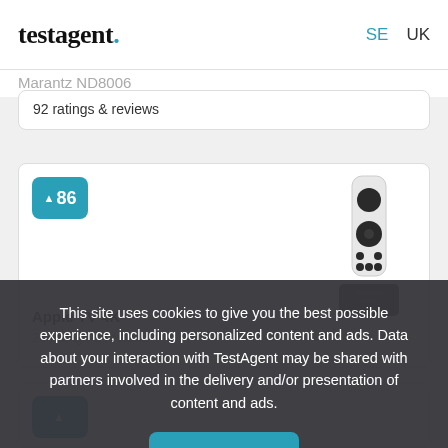testagent. SE UK
Marantz ND8006
92 ratings & reviews
[Figure (screenshot): Product card with score badge '86' and Apple TV 4K remote image]
Apple TV 4K
26 ratings & reviews
This site uses cookies to give you the best possible experience, including personalized content and ads. Data about your interaction with TestAgent may be shared with partners involved in the delivery and/or presentation of content and ads.
I Agree